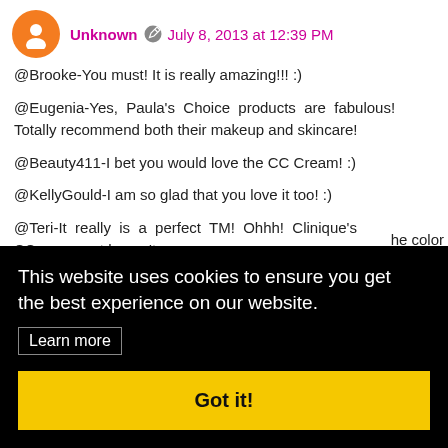Unknown  July 8, 2013 at 12:39 PM
@Brooke-You must! It is really amazing!!! :)
@Eugenia-Yes, Paula's Choice products are fabulous! Totally recommend both their makeup and skincare!
@Beauty411-I bet you would love the CC Cream! :)
@KellyGould-I am so glad that you love it too! :)
@Teri-It really is a perfect TM! Ohhh! Clinique's CC [partially hidden] t haven't [rest hidden]
[partially hidden] he color
Reply
This website uses cookies to ensure you get the best experience on our website. Learn more Got it!